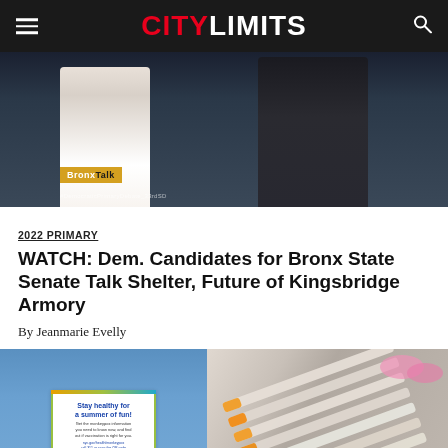CITY LIMITS
[Figure (photo): Two people seated on a TV debate stage with 'BronxTalk' logo visible. Hashtag #DemocraticPrimaryDebate_33rdSD shown at bottom.]
2022 PRIMARY
WATCH: Dem. Candidates for Bronx State Senate Talk Shelter, Future of Kingsbridge Armory
By Jeanmarie Evelly
[Figure (photo): Person holding a flyer that reads 'Stay healthy for a summer of fun! Get the monkeypox information you need to know now, and find out if vaccination is right for you.']
[Figure (photo): Multiple medical syringes with orange caps arranged in a row.]